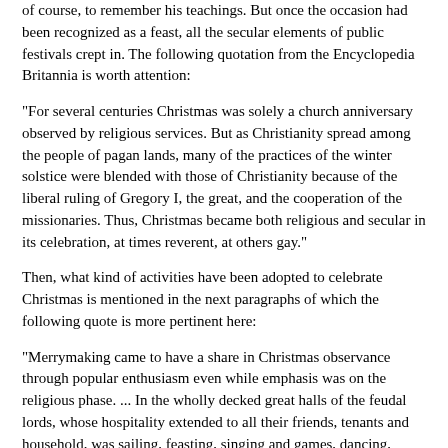of course, to remember his teachings. But once the occasion had been recognized as a feast, all the secular elements of public festivals crept in. The following quotation from the Encyclopedia Britannia is worth attention:
"For several centuries Christmas was solely a church anniversary observed by religious services. But as Christianity spread among the people of pagan lands, many of the practices of the winter solstice were blended with those of Christianity because of the liberal ruling of Gregory I, the great, and the cooperation of the missionaries. Thus, Christmas became both religious and secular in its celebration, at times reverent, at others gay."
Then, what kind of activities have been adopted to celebrate Christmas is mentioned in the next paragraphs of which the following quote is more pertinent here:
"Merrymaking came to have a share in Christmas observance through popular enthusiasm even while emphasis was on the religious phase. ... In the wholly decked great halls of the feudal lords, whose hospitality extended to all their friends, tenants and household, was sailing, feasting, singing and games, dancing, masquerading and mummers presenting pantomimes and masques were all part of the festivities." (Encyclopedia Britannica, 1953 v. 5, p. 643)
This is enough to show as to how an apparently innocent feast of reverence was converted into a secular festival where the merrymaking and hedonism went beyond even what was done before, as all the